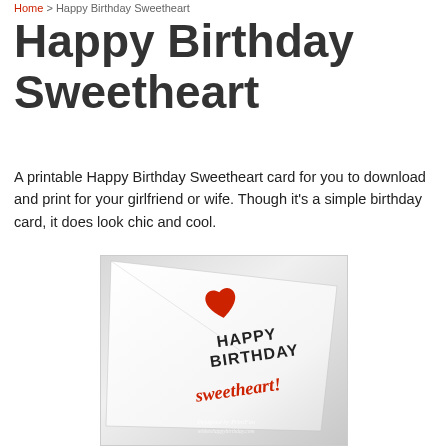Home > Happy Birthday Sweetheart
Happy Birthday Sweetheart
A printable Happy Birthday Sweetheart card for you to download and print for your girlfriend or wife. Though it's a simple birthday card, it does look chic and cool.
[Figure (photo): A photo of a white birthday card with a red heart sticker, text 'HAPPY BIRTHDAY' in black and 'sweetheart!' in red cursive script. Watermark reads 'Designed by PrintFun / wisheshappybirthday.com']